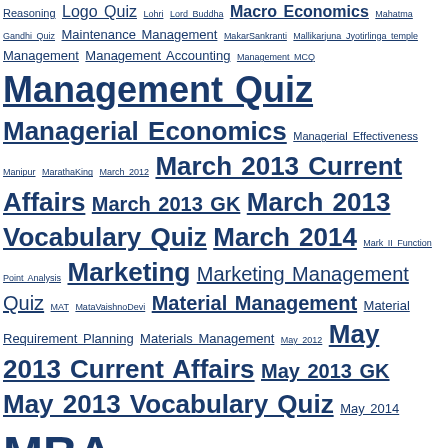A tag cloud of educational quiz topics including Management Quiz, MBA Entrance, MBA, PCS, Personality Quiz, Marketing, etc.